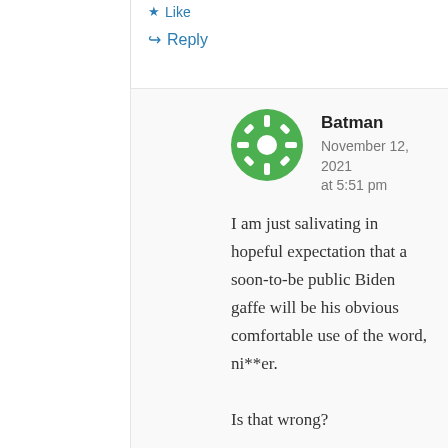Like
Reply
Batman
November 12, 2021 at 5:51 pm
I am just salivating in hopeful expectation that a soon-to-be public Biden gaffe will be his obvious comfortable use of the word, ni**er.
Is that wrong?